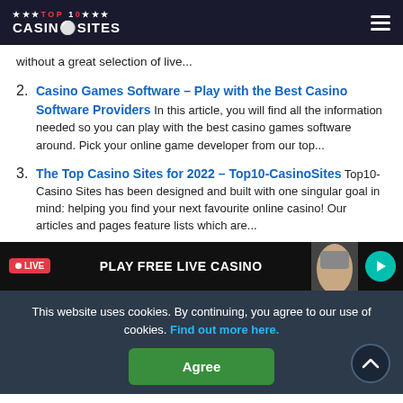TOP 10 CASINOSITES
without a great selection of live...
Casino Games Software – Play with the Best Casino Software Providers In this article, you will find all the information needed so you can play with the best casino games software around. Pick your online game developer from our top...
The Top Casino Sites for 2022 – Top10-CasinoSites Top10-Casino Sites has been designed and built with one singular goal in mind: helping you find your next favourite online casino! Our articles and pages feature lists which are...
[Figure (screenshot): PLAY FREE LIVE CASINO banner with LIVE badge and arrow button]
This website uses cookies. By continuing, you agree to our use of cookies. Find out more here. Agree